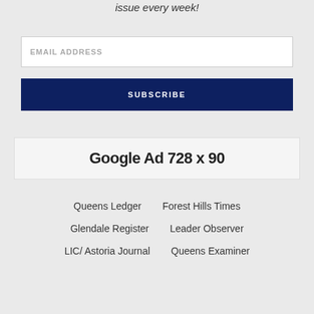issue every week!
EMAIL ADDRESS
SUBSCRIBE
[Figure (other): Google Ad 728 x 90 placeholder banner]
Queens Ledger
Forest Hills Times
Glendale Register
Leader Observer
LIC/ Astoria Journal
Queens Examiner